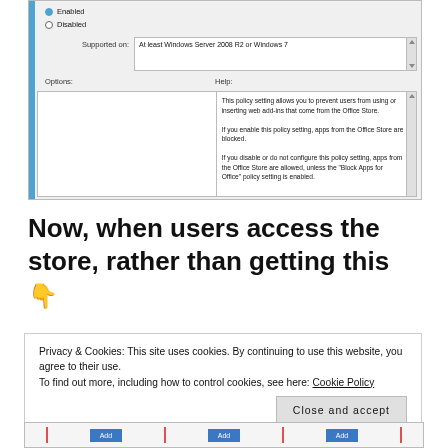[Figure (screenshot): Windows Group Policy dialog showing Enabled/Disabled radio buttons, Supported on field showing 'At least Windows Server 2008 R2 or Windows 7', Options and Help panels with policy description about blocking Office Store apps.]
Now, when users access the store, rather than getting this 👇
[Figure (screenshot): Cookie consent banner with text 'Privacy & Cookies: This site uses cookies. By continuing to use this website, you agree to their use. To find out more, including how to control cookies, see here: Cookie Policy' and a 'Close and accept' button.]
[Figure (screenshot): Bottom strip with Add buttons and red vertical bars.]